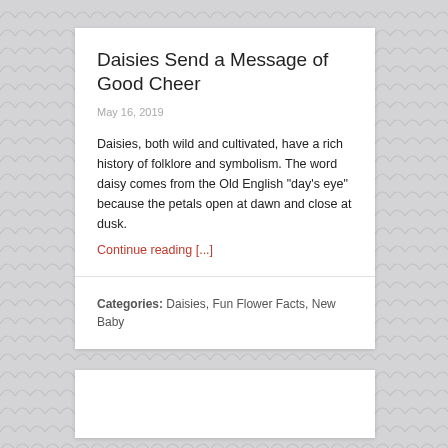Daisies Send a Message of Good Cheer
May 16, 2019
Daisies, both wild and cultivated, have a rich history of folklore and symbolism. The word daisy comes from the Old English "day's eye" because the petals open at dawn and close at dusk.
Continue reading [...]
Categories: Daisies, Fun Flower Facts, New Baby